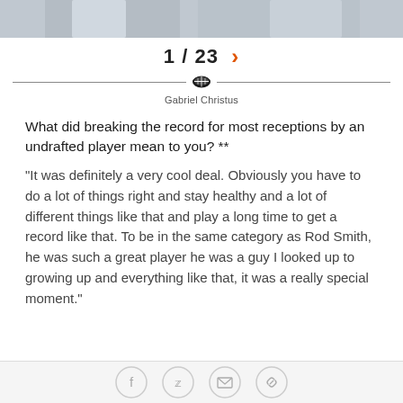[Figure (photo): Cropped photo strip of a person in a white shirt, partially visible at top of page]
1 / 23 >
[Figure (other): Horizontal divider with a small football icon in the center]
Gabriel Christus
What did breaking the record for most receptions by an undrafted player mean to you? **
"It was definitely a very cool deal. Obviously you have to do a lot of things right and stay healthy and a lot of different things like that and play a long time to get a record like that. To be in the same category as Rod Smith, he was such a great player he was a guy I looked up to growing up and everything like that, it was a really special moment."
[Figure (other): Social sharing buttons row: Facebook, Twitter, Email, Link]